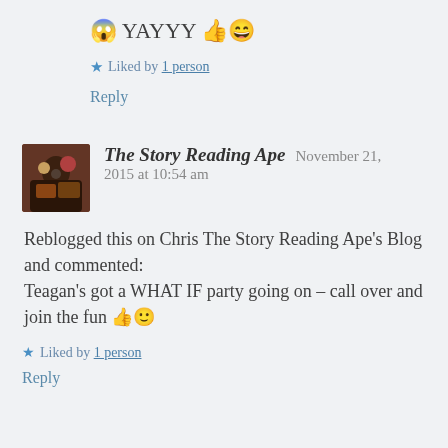😱 YAYYY 👍😄
★ Liked by 1 person
Reply
[Figure (photo): Avatar photo of The Story Reading Ape]
The Story Reading Ape   November 21, 2015 at 10:54 am
Reblogged this on Chris The Story Reading Ape's Blog and commented:
Teagan's got a WHAT IF party going on – call over and join the fun 👍🙂
★ Liked by 1 person
Reply